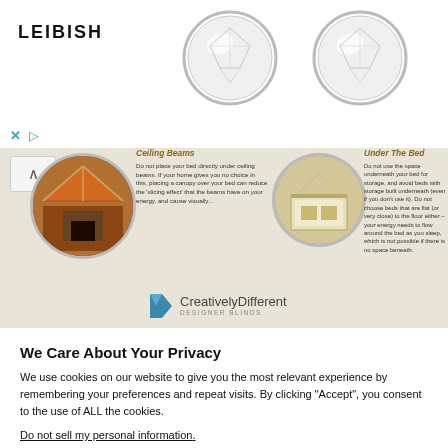[Figure (screenshot): LEIBISH jewelry advertisement banner with two diamond stud earrings on white background, with X and play button controls]
[Figure (screenshot): Infographic strip about Ceiling Beams and Under The Bed feng shui tips from Creatively Different Designer Blinds, with two circular room images and text]
We Care About Your Privacy
We use cookies on our website to give you the most relevant experience by remembering your preferences and repeat visits. By clicking “Accept”, you consent to the use of ALL the cookies.
Do not sell my personal information.
Cookie Settings
Accept